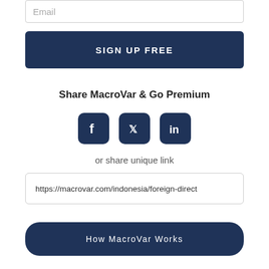Email
SIGN UP FREE
Share MacroVar & Go Premium
[Figure (other): Social share icons: Facebook, Twitter, LinkedIn dark navy rounded square buttons]
or share unique link
https://macrovar.com/indonesia/foreign-direct
How MacroVar Works